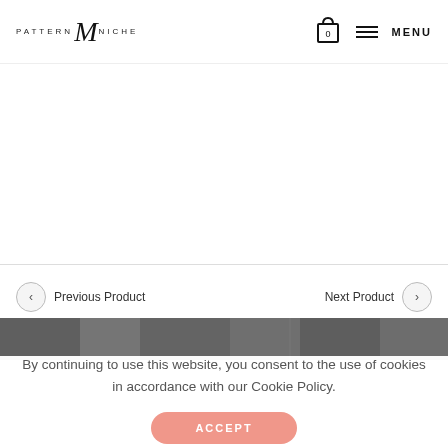PATTERN M NICHE — navigation with cart (0) and MENU
By continuing to use this website, you consent to the use of cookies in accordance with our Cookie Policy.
ACCEPT